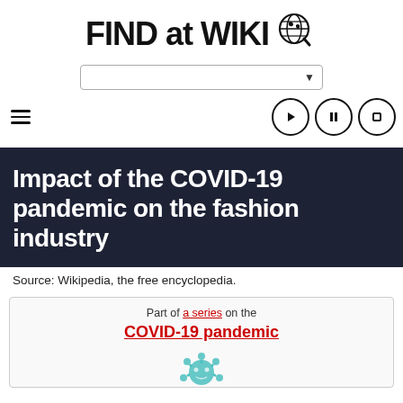FIND at WIKI (globe logo)
[Figure (screenshot): Search bar dropdown with arrow]
[Figure (screenshot): Navigation row with hamburger menu and play/pause/stop icon buttons]
Impact of the COVID-19 pandemic on the fashion industry
Source: Wikipedia, the free encyclopedia.
Part of a series on the COVID-19 pandemic